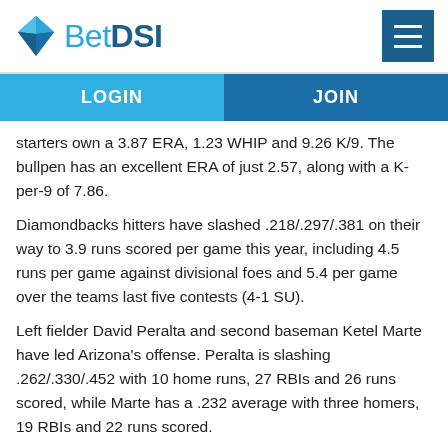BetDSI
LOGIN   JOIN
starters own a 3.87 ERA, 1.23 WHIP and 9.26 K/9. The bullpen has an excellent ERA of just 2.57, along with a K-per-9 of 7.86.
Diamondbacks hitters have slashed .218/.297/.381 on their way to 3.9 runs scored per game this year, including 4.5 runs per game against divisional foes and 5.4 per game over the teams last five contests (4-1 SU).
Left fielder David Peralta and second baseman Ketel Marte have led Arizona's offense. Peralta is slashing .262/.330/.452 with 10 home runs, 27 RBIs and 26 runs scored, while Marte has a .232 average with three homers, 19 RBIs and 22 runs scored.
In the other dugout, San Francisco's pitchers have allowed 4.7